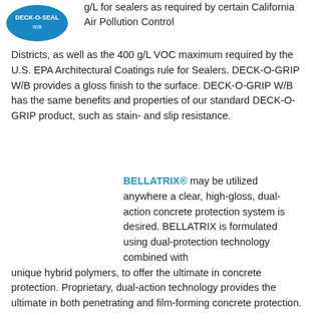[Figure (logo): Blue oval logo, partially visible at top left]
g/L for sealers as required by certain California Air Pollution Control Districts, as well as the 400 g/L VOC maximum required by the U.S. EPA Architectural Coatings rule for Sealers. DECK-O-GRIP W/B provides a gloss finish to the surface. DECK-O-GRIP W/B has the same benefits and properties of our standard DECK-O-GRIP product, such as stain- and slip resistance.
BELLATRIX® may be utilized anywhere a clear, high-gloss, dual-action concrete protection system is desired. BELLATRIX is formulated using dual-protection technology combined with unique hybrid polymers, to offer the ultimate in concrete protection. Proprietary, dual-action technology provides the ultimate in both penetrating and film-forming concrete protection. BELLATRIX offers environmentally